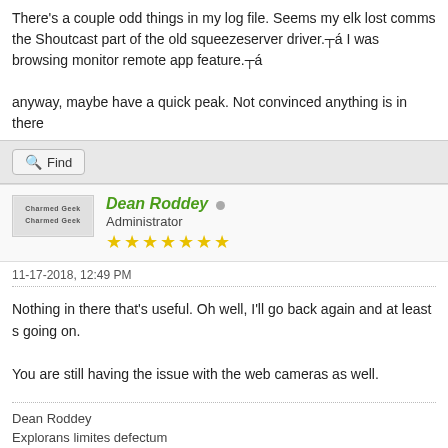There's a couple odd things in my log file. Seems my elk lost comms the Shoutcast part of the old squeezeserver driver.┬á I was browsing monitor remote app feature.┬á
anyway, maybe have a quick peak. Not convinced anything is in there
Find
Dean Roddey
Administrator
11-17-2018, 12:49 PM
Nothing in there that's useful. Oh well, I'll go back again and at least s going on.
You are still having the issue with the web cameras as well.
Dean Roddey
Explorans limites defectum